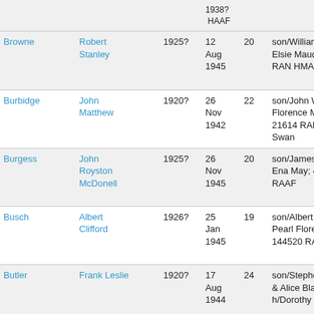| Surname | Given Names | Birth Year | Death Date | Age | Details | Location |
| --- | --- | --- | --- | --- | --- | --- |
| Browne | Robert Stanley | 1925? | 12 Aug 1945 | 20 | son/William James & Elsie Maud; 26920 RAN HMAS Magnetic | Be... Ga... Wa... QL... |
| Burbidge | John Matthew | 1920? | 26 Nov 1942 | 22 | son/John William & Florence Matilda; 21614 RAN HMAS Swan | Be... Ga... Wa... QL... |
| Burgess | John Royston McDonell | 1925? | 26 Nov 1945 | 20 | son/James Gibson & Ena May; 443673 RAAF | Be... Ga... Wa... QL... |
| Busch | Albert Clifford | 1926? | 25 Jan 1945 | 19 | son/Albert Sydney & Pearl Florence; 144520 RAAF | Be... Ga... Wa... QL... |
| Butler | Frank Leslie | 1920? | 17 Aug 1944 | 24 | son/Stephen Ernest & Alice Blanche; h/Dorothy | Be... Ga... Wa... QL... |